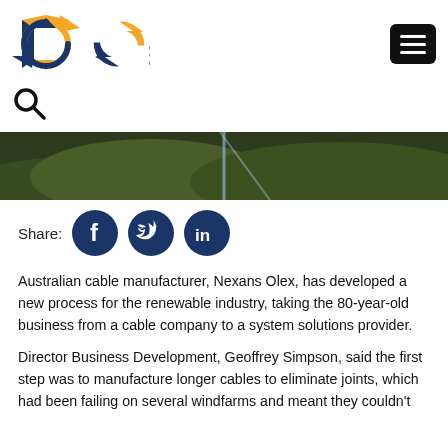[Figure (logo): ICN Industry Capability Network logo with orange and blue arrows icon and dark blue ICN text with tagline 'Industry Capability Network']
[Figure (photo): Aerial photo of green rolling hills with a straight road or cable line running through them]
Share:
[Figure (infographic): Social media share buttons: Facebook, Twitter, LinkedIn — dark navy circular icons]
Australian cable manufacturer, Nexans Olex, has developed a new process for the renewable industry, taking the 80-year-old business from a cable company to a system solutions provider.
Director Business Development, Geoffrey Simpson, said the first step was to manufacture longer cables to eliminate joints, which had been failing on several windfarms and meant they couldn't